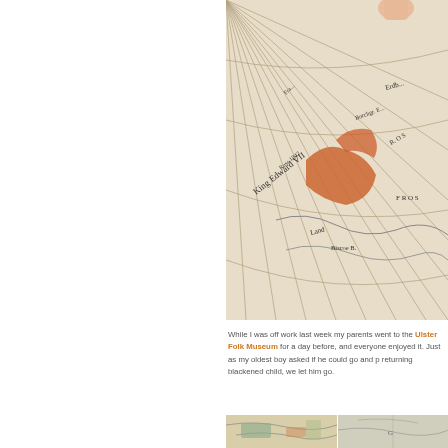[Figure (photo): Close-up photograph of an antique globe or old map showing geographic lines, place names including 'King Edward VII' and other historical cartographic text, in warm sepia and orange tones.]
While I was off work last week my parents went to the Ulster Folk Museum for a day before, and everyone enjoyed it. Just as my oldest boy asked if he could go and p returning blackened child, we let him go.
[Figure (photo): Two side-by-side photographs of old maps showing coastal regions with colored territories in muted greens, oranges, and beiges.]